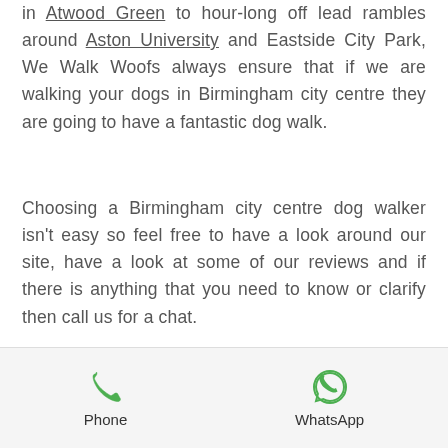in Atwood Green to hour-long off lead rambles around Aston University and Eastside City Park, We Walk Woofs always ensure that if we are walking your dogs in Birmingham city centre they are going to have a fantastic dog walk.
Choosing a Birmingham city centre dog walker isn't easy so feel free to have a look around our site, have a look at some of our reviews and if there is anything that you need to know or clarify then call us for a chat.
[Figure (infographic): Bottom navigation bar with Phone and WhatsApp contact buttons, each with a green icon above the label]